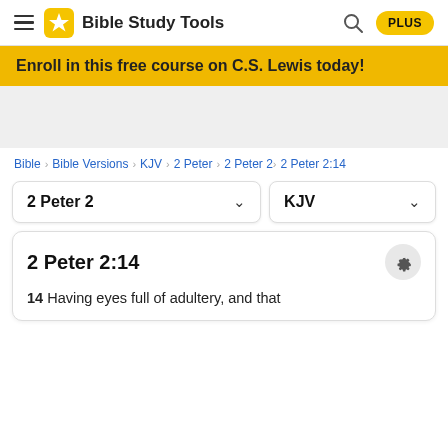Bible Study Tools | PLUS
Enroll in this free course on C.S. Lewis today!
Bible > Bible Versions > KJV > 2 Peter > 2 Peter 2 > 2 Peter 2:14
2 Peter 2 | KJV
2 Peter 2:14
14 Having eyes full of adultery, and that